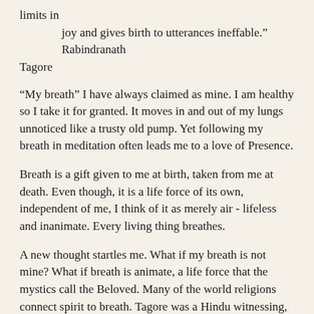limits in
        joy and gives birth to utterances ineffable."  Rabindranath Tagore
“My breath” I have always claimed as mine. I am healthy so I take it for granted. It moves in and out of my lungs unnoticed like a trusty old pump. Yet following my breath in meditation often leads me to a love of Presence.
Breath is a gift given to me at birth, taken from me at death. Even though, it is a life force of its own, independent of me, I think of it as merely air - lifeless and inanimate. Every living thing breathes.
A new thought startles me. What if my breath is not mine? What if breath is animate, a life force that the mystics call the Beloved. Many of the world religions connect spirit to breath. Tagore was a Hindu witnessing, “thou has breathed through {me}  melodies ever new....”  The writer of the old Christian hymn implored, “Breathe on me breath of God, Fill me with life anew....”  Both are a lover’s witness and a lover’s request.
So it is not me breathing, it is me receiving. Imagine, ordinary